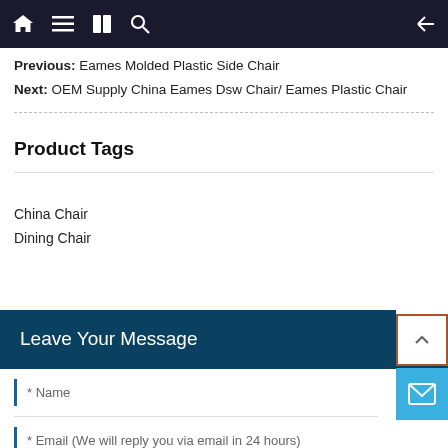Navigation bar with home, menu, book, search, and back icons
Previous: Eames Molded Plastic Side Chair
Next: OEM Supply China Eames Dsw Chair/ Eames Plastic Chair
Product Tags
China Chair
Dining Chair
Leave Your Message
* Name
* Email (We will reply you via email in 24 hours)